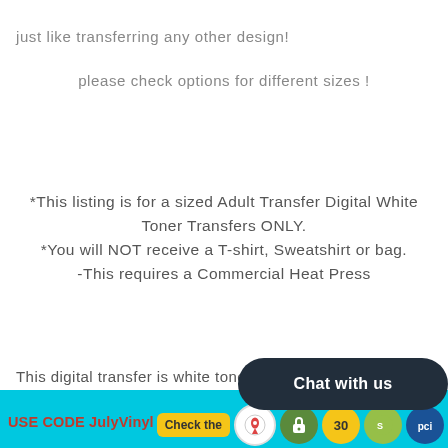just like transferring any other design!
please check options for different sizes !
*This listing is for a sized Adult Transfer Digital White Toner Transfers ONLY.
*You will NOT receive a T-shirt, Sweatshirt or bag.
-This requires a Commercial Heat Press
This digital transfer is white toner  at
USE CODE JulyVinyl for BUY 2
[Figure (screenshot): Chat with us bubble overlay and bottom icon bar with map, lock, 30, shopify, pci icons and Check the button]